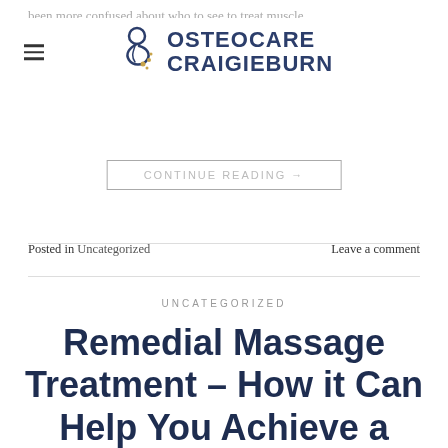been more confused about who to see to treat muscle injuries — a massage therapist or a physio? Would you look for an…
[Figure (logo): Osteocare Craigieburn logo with spine/swirl icon and bold text]
CONTINUE READING →
Posted in Uncategorized   Leave a comment
UNCATEGORIZED
Remedial Massage Treatment – How it Can Help You Achieve a Great Night's Sleep